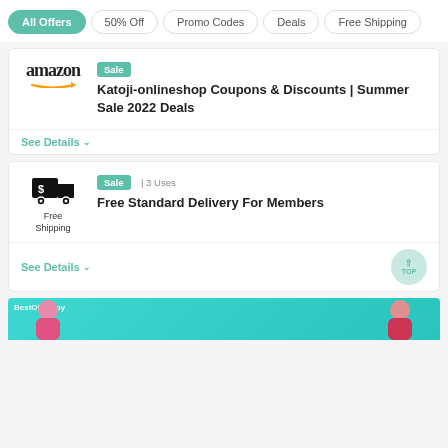All Offers
50% Off
Promo Codes
Deals
Free Shipping
Sale
Katoji-onlineshop Coupons & Discounts | Summer Sale 2022 Deals
See Details
Sale | 3 Uses
Free Standard Delivery For Members
Free Shipping
See Details
[Figure (photo): Banner at bottom showing two women in swimsuits near water with BestOfferSpy branding]